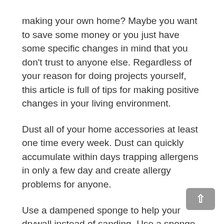making your own home? Maybe you want to save some money or you just have some specific changes in mind that you don't trust to anyone else. Regardless of your reason for doing projects yourself, this article is full of tips for making positive changes in your living environment.
Dust all of your home accessories at least one time every week. Dust can quickly accumulate within days trapping allergens in only a few day and create allergy problems for anyone.
Use a dampened sponge to help your drywall instead of sanding. Use a sponge instead of sandpaper.A sponge works just as effectively as a sander.The good thing is that sponging doesn't kick up all of the dust that you get with sanding.